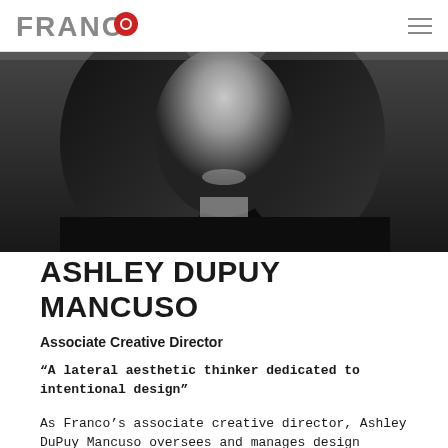FRANCO
[Figure (photo): Black and white portrait photo of Ashley DuPuy Mancuso, a woman with long dark wavy hair, smiling, wearing a dark floral top]
ASHLEY DUPUY MANCUSO
Associate Creative Director
“A lateral aesthetic thinker dedicated to intentional design”
As Franco’s associate creative director, Ashley DuPuy Mancuso oversees and manages design across the agency. While Ashley’s experience spans industries,